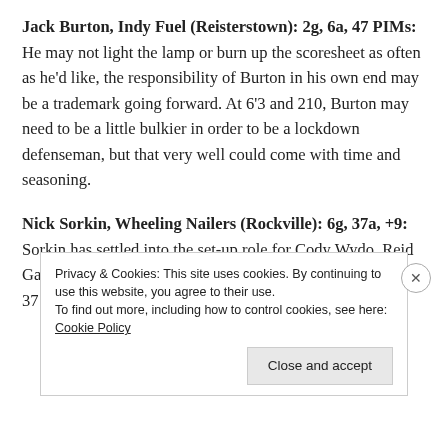Jack Burton, Indy Fuel (Reisterstown): 2g, 6a, 47 PIMs: He may not light the lamp or burn up the scoresheet as often as he'd like, the responsibility of Burton in his own end may be a trademark going forward. At 6'3 and 210, Burton may need to be a little bulkier in order to be a lockdown defenseman, but that very well could come with time and seasoning.
Nick Sorkin, Wheeling Nailers (Rockville): 6g, 37a, +9: Sorkin has settled into the set-up role for Cody Wydo, Reid Gardiner, and Cam Brown. Not just on his team, but Sorkin's 37 assists rank fifth in the ECHL. Sorkin also hit
Privacy & Cookies: This site uses cookies. By continuing to use this website, you agree to their use.
To find out more, including how to control cookies, see here: Cookie Policy
Close and accept